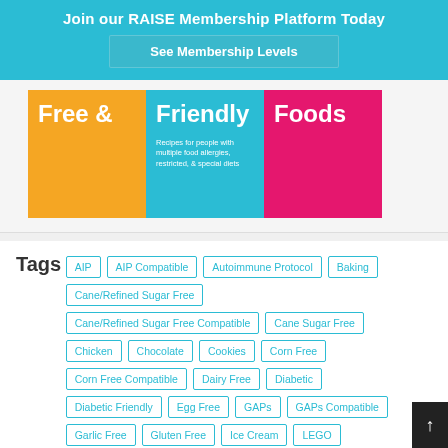Join our RAISE Membership Platform Today
See Membership Levels
[Figure (illustration): Book cover for 'Free & Friendly Foods' — three colored tiles: orange with 'Free &', teal/blue with 'Friendly' and subtitle 'Recipes for people with multiple food allergies, restricted & special diets', and pink with 'Foods']
Tags
AIP
AIP Compatible
Autoimmune Protocol
Baking
Cane/Refined Sugar Free
Cane/Refined Sugar Free Compatible
Cane Sugar Free
Chicken
Chocolate
Cookies
Corn Free
Corn Free Compatible
Dairy Free
Diabetic
Diabetic Friendly
Egg Free
GAPs
GAPs Compatible
Garlic Free
Gluten Free
Ice Cream
LEGO